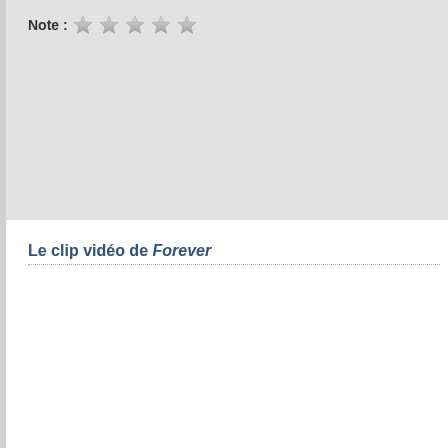Note : ★★★★★
Le clip vidéo de Forever